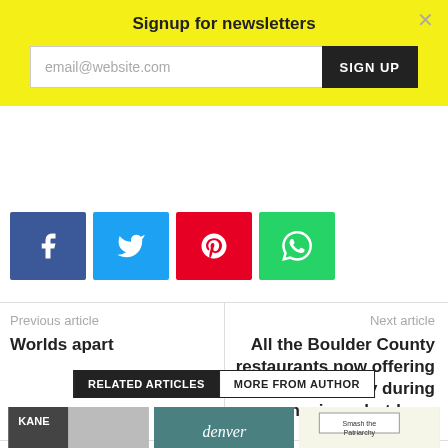Signup for newsletters
email@website.com
SIGN UP
[Figure (infographic): Social share buttons: Facebook (blue), Twitter (cyan), Pinterest (red), WhatsApp (green)]
Previous article
Worlds apart
Next article
All the Boulder County restaurants now offering takeout/delivery during coronavirus shutdown
RELATED ARTICLES
MORE FROM AUTHOR
[Figure (photo): Black and white photo with text KANE]
[Figure (photo): Teal colored image with text 'denver']
[Figure (illustration): Illustration with text 'Smash the Patriarchy']